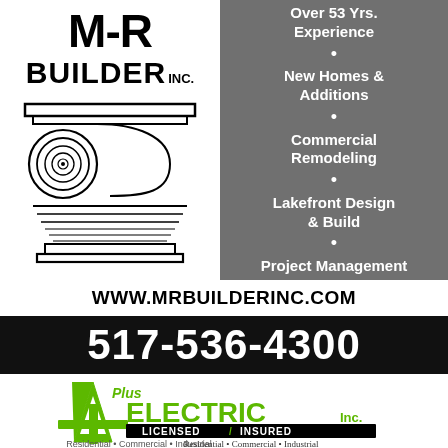[Figure (logo): M-R Builder Inc. logo with Ionic column capital illustration]
Over 53 Yrs. Experience
New Homes & Additions
Commercial Remodeling
Lakefront Design & Build
Project Management
WWW.MRBUILDERINC.COM
517-536-4300
[Figure (logo): A+ Plus Electric Inc. logo, Licensed / Insured, Residential • Commercial • Industrial]